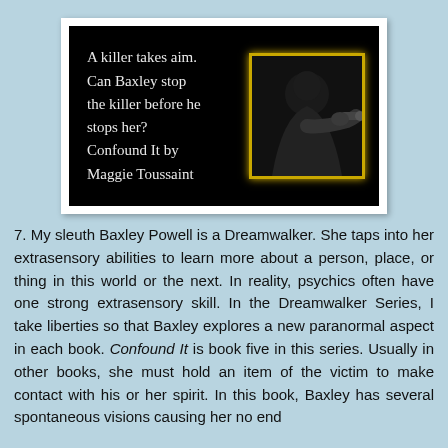[Figure (illustration): Book cover for 'Confound It by Maggie Toussaint'. Black background with white serif text reading: 'A killer takes aim. Can Baxley stop the killer before he stops her? Confound It by Maggie Toussaint'. On the right side, a gold-bordered photo of a dark-clad figure holding a gun aimed at the viewer.]
7. My sleuth Baxley Powell is a Dreamwalker. She taps into her extrasensory abilities to learn more about a person, place, or thing in this world or the next. In reality, psychics often have one strong extrasensory skill. In the Dreamwalker Series, I take liberties so that Baxley explores a new paranormal aspect in each book. Confound It is book five in this series. Usually in other books, she must hold an item of the victim to make contact with his or her spirit. In this book, Baxley has several spontaneous visions causing her no end